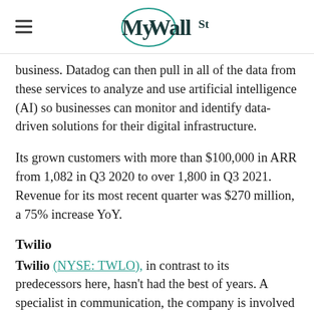MyWallSt
business. Datadog can then pull in all of the data from these services to analyze and use artificial intelligence (AI) so businesses can monitor and identify data-driven solutions for their digital infrastructure.
Its grown customers with more than $100,000 in ARR from 1,082 in Q3 2020 to over 1,800 in Q3 2021. Revenue for its most recent quarter was $270 million, a 75% increase YoY.
Twilio
Twilio (NYSE: TWLO), in contrast to its predecessors here, hasn't had the best of years. A specialist in communication, the company is involved in chatbots,